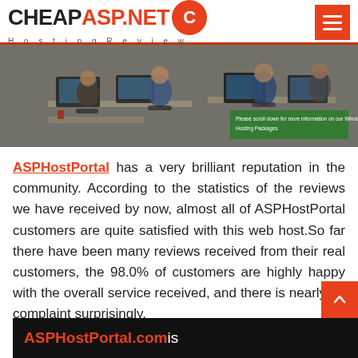CHEAP ASP.NET Hosting Review
[Figure (photo): Office environment with people working at computers. A green overlay caption reads: 'Please scroll down for more information on our Windows Hosting Packages']
ASPHostPortal has a very brilliant reputation in the community. According to the statistics of the reviews we have received by now, almost all of ASPHostPortal customers are quite satisfied with this web host.So far there have been many reviews received from their real customers, the 98.0% of customers are highly happy with the overall service received, and there is nearly no complaint surprisingly.
[Figure (screenshot): Black bar at bottom showing 'ASPHostPortal.com is']